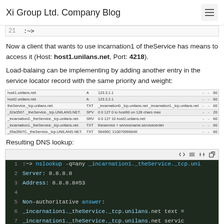Xi Group Ltd. Company Blog
:~>
Now a client that wants to use incarnation1 of theService has means to access it (Host: host1.unilans.net, Port: 4218).
Load-balaing can be implementing by adding another entry in the service locator record with the same priority and weight:
[Figure (screenshot): A DNS management table showing multiple DNS records including A records for host1.unilans.net and host2.unilans.net, SRV records for _incarnation entries, and related entries.]
Resulting DNS lookup:
[Figure (screenshot): Terminal code block showing nslookup command output: :~> nslookup -q=any _incarnation1._theService._tcp.uni... with Server: 8.8.8.8, Address: 8.8.8.8#53, Non-authoritative answer, _incarnation1._theService._tcp.unilans.net text = ..., _incarnation1._theService._tcp.unilans.net servic..., _incarnation1._theService._tcp.unilans.net servic...]